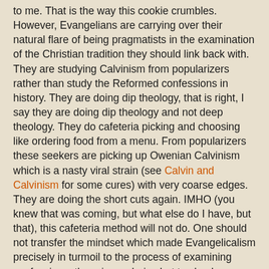to me. That is the way this cookie crumbles. However, Evangelians are carrying over their natural flare of being pragmatists in the examination of the Christian tradition they should link back with. They are studying Calvinism from popularizers rather than study the Reformed confessions in history. They are doing dip theology, that is right, I say they are doing dip theology and not deep theology. They do cafeteria picking and choosing like ordering food from a menu. From popularizers these seekers are picking up Owenian Calvinism which is a nasty viral strain (see Calvin and Calvinism for some cures) with very coarse edges. They are doing the short cuts again. IMHO (you knew that was coming, but what else do I have, but that), this cafeteria method will not do. One should not transfer the mindset which made Evangelicalism precisely in turmoil to the process of examining confessions, there is no choice but to chuck away the pragmatism it was founded upon in the first place. No, hard yakka (i.e. an Aussie word for -- work) in terms of study is needed.
In a similar vain, through the Internet, you get to hear of many stories how Evangelians became RCs. Many RC e